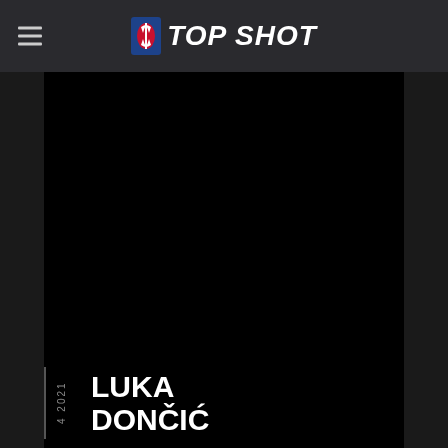NBA TOP SHOT
[Figure (screenshot): NBA Top Shot digital collectible card showing Luka Dončić on a black background. Card displays '4 2021' vertically on the left side and player name 'LUKA DONČIĆ' in large white bold text at the bottom.]
LUKA DONČIĆ